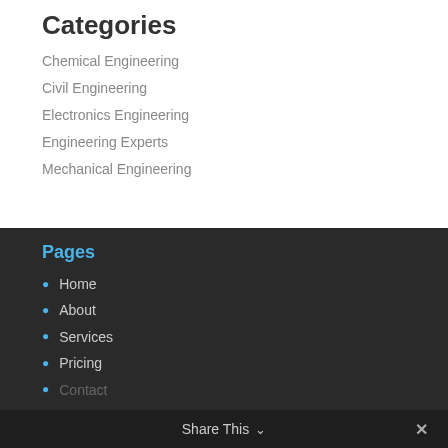Categories
Chemical Engineering
Civil Engineering
Electronics Engineering
Engineering Experts
Mechanical Engineering
Pages
Home
About
Services
Pricing
Contact
Share This ∨  ✕